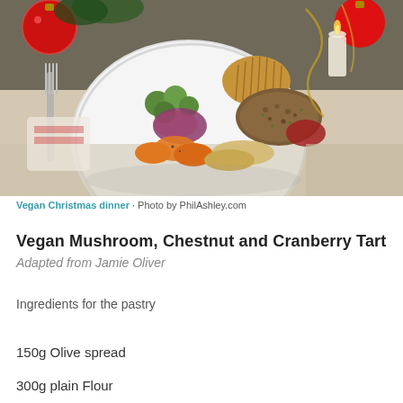[Figure (photo): A white plate of vegan Christmas dinner featuring a mushroom and chestnut tart, brussels sprouts, sliced carrots, roasted parsnips, red cabbage, and a hasselback potato, surrounded by festive decorations including red ornaments, gold ribbons, and a candle on a linen tablecloth.]
Vegan Christmas dinner · Photo by PhilAshley.com
Vegan Mushroom, Chestnut and Cranberry Tart
Adapted from Jamie Oliver
Ingredients for the pastry
150g Olive spread
300g plain Flour